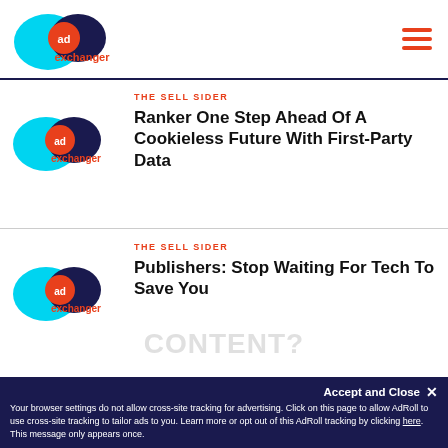AdExchanger
Ranker One Step Ahead Of A Cookieless Future With First-Party Data
Publishers: Stop Waiting For Tech To Save You
Accept and Close ×
Your browser settings do not allow cross-site tracking for advertising. Click on this page to allow AdRoll to use cross-site tracking to tailor ads to you. Learn more or opt out of this AdRoll tracking by clicking here. This message only appears once.